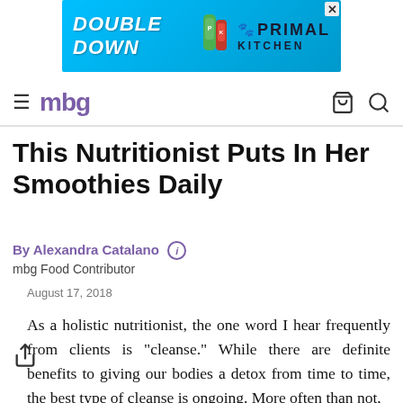[Figure (other): Advertisement banner for Primal Kitchen - 'DOUBLE DOWN' text on blue background with product images and Primal Kitchen logo]
mbg
This Nutritionist Puts In Her Smoothies Daily
By Alexandra Catalano ⓘ
mbg Food Contributor
August 17, 2018
As a holistic nutritionist, the one word I hear frequently from clients is "cleanse." While there are definite benefits to giving our bodies a detox from time to time, the best type of cleanse is ongoing. More often than not,